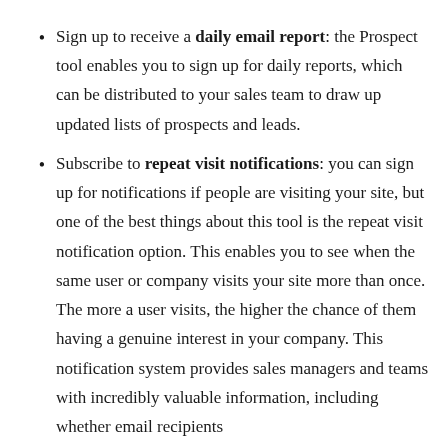Sign up to receive a daily email report: the Prospect tool enables you to sign up for daily reports, which can be distributed to your sales team to draw up updated lists of prospects and leads.
Subscribe to repeat visit notifications: you can sign up for notifications if people are visiting your site, but one of the best things about this tool is the repeat visit notification option. This enables you to see when the same user or company visits your site more than once. The more a user visits, the higher the chance of them having a genuine interest in your company. This notification system provides sales managers and teams with incredibly valuable information, including whether email recipients